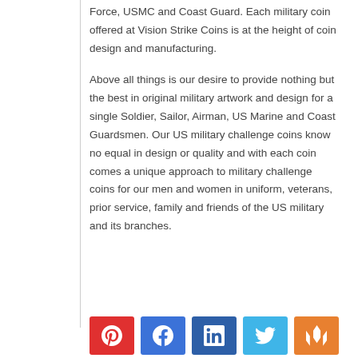Force, USMC and Coast Guard. Each military coin offered at Vision Strike Coins is at the height of coin design and manufacturing.
Above all things is our desire to provide nothing but the best in original military artwork and design for a single Soldier, Sailor, Airman, US Marine and Coast Guardsmen. Our US military challenge coins know no equal in design or quality and with each coin comes a unique approach to military challenge coins for our men and women in uniform, veterans, prior service, family and friends of the US military and its branches.